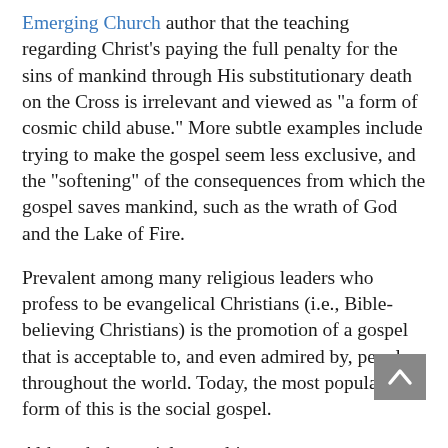Emerging Church author that the teaching regarding Christ's paying the full penalty for the sins of mankind through His substitutionary death on the Cross is irrelevant and viewed as "a form of cosmic child abuse." More subtle examples include trying to make the gospel seem less exclusive, and the "softening" of the consequences from which the gospel saves mankind, such as the wrath of God and the Lake of Fire.
Prevalent among many religious leaders who profess to be evangelical Christians (i.e., Bible-believing Christians) is the promotion of a gospel that is acceptable to, and even admired by, people throughout the world. Today, the most popular form of this is the social gospel.
Although the social gospel is common to many new movements among evangelicals, it is not new to Christendom. It had its modern beginning in the late 1800s, when it developed as a way to address the various